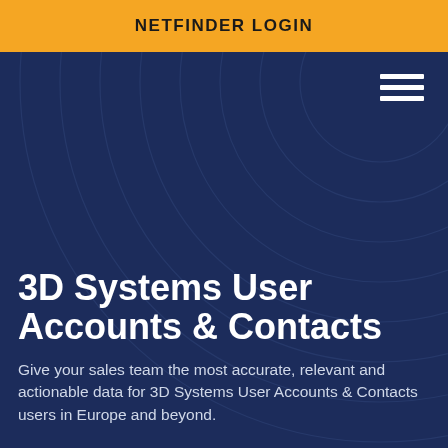NETFINDER LOGIN
3D Systems User Accounts & Contacts
Give your sales team the most accurate, relevant and actionable data for 3D Systems User Accounts & Contacts users in Europe and beyond.